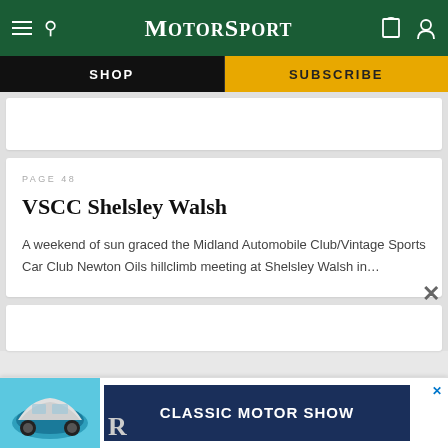MotorSport
SHOP
SUBSCRIBE
PAGE 48
VSCC Shelsley Walsh
A weekend of sun graced the Midland Automobile Club/Vintage Sports Car Club Newton Oils hillclimb meeting at Shelsley Walsh in...
[Figure (screenshot): Advertisement banner showing a blue Porsche 911 car and text CLASSIC MOTOR SHOW on dark blue background]